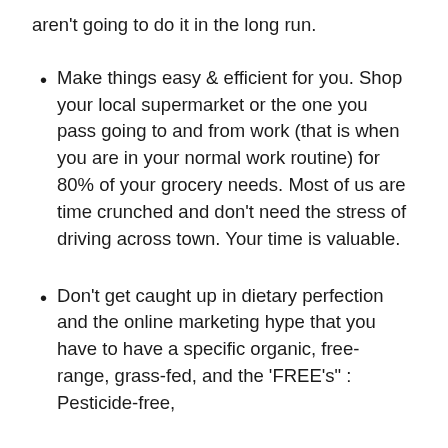aren't going to do it in the long run.
Make things easy & efficient for you. Shop your local supermarket or the one you pass going to and from work (that is when you are in your normal work routine) for 80% of your grocery needs. Most of us are time crunched and don't need the stress of driving across town. Your time is valuable.
Don't get caught up in dietary perfection and the online marketing hype that you have to have a specific organic, free-range, grass-fed, and the 'FREE's" : Pesticide-free,